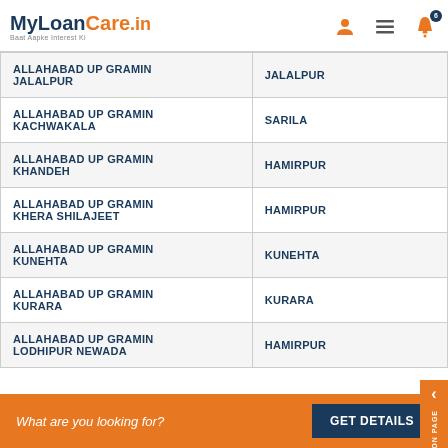MyLoanCare.in - Baat Aapke Interest Ki
| Branch | City |
| --- | --- |
| ALLAHABAD UP GRAMIN JALALPUR | JALALPUR |
| ALLAHABAD UP GRAMIN KACHWAKALA | SARILA |
| ALLAHABAD UP GRAMIN KHANDEH | HAMIRPUR |
| ALLAHABAD UP GRAMIN KHERA SHILAJEET | HAMIRPUR |
| ALLAHABAD UP GRAMIN KUNEHTA | KUNEHTA |
| ALLAHABAD UP GRAMIN KURARA | KURARA |
| ALLAHABAD UP GRAMIN LODHIPUR NEWADA | HAMIRPUR |
What are you looking for? GET DETAILS